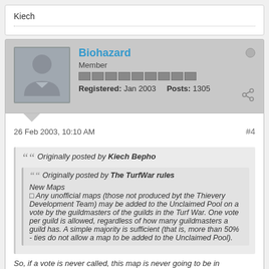Kiech
Biohazard
Member
Registered: Jan 2003   Posts: 1305
26 Feb 2003, 10:10 AM
#4
Originally posted by Kiech Bepho
Originally posted by The TurfWar rules
New Maps
□ Any unofficial maps (those not produced byt the Thievery Development Team) may be added to the Unclaimed Pool on a vote by the guildmasters of the guilds in the Turf War. One vote per guild is allowed, regardless of how many guildmasters a guild has. A simple majority is sufficient (that is, more than 50% - ties do not allow a map to be added to the Unclaimed Pool).
So, if a vote is never called, this map is never going to be in